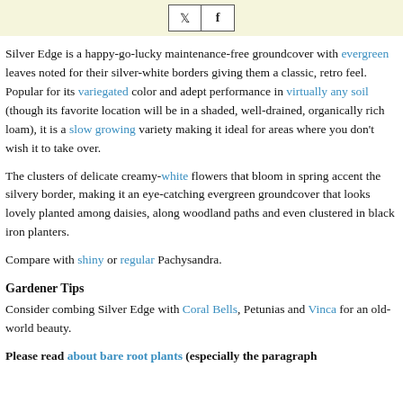[Figure (other): Social media sharing buttons (Twitter and Facebook) on a light yellow/beige banner]
Silver Edge is a happy-go-lucky maintenance-free groundcover with evergreen leaves noted for their silver-white borders giving them a classic, retro feel. Popular for its variegated color and adept performance in virtually any soil (though its favorite location will be in a shaded, well-drained, organically rich loam), it is a slow growing variety making it ideal for areas where you don't wish it to take over.
The clusters of delicate creamy-white flowers that bloom in spring accent the silvery border, making it an eye-catching evergreen groundcover that looks lovely planted among daisies, along woodland paths and even clustered in black iron planters.
Compare with shiny or regular Pachysandra.
Gardener Tips
Consider combing Silver Edge with Coral Bells, Petunias and Vinca for an old-world beauty.
Please read about bare root plants (especially the paragraph